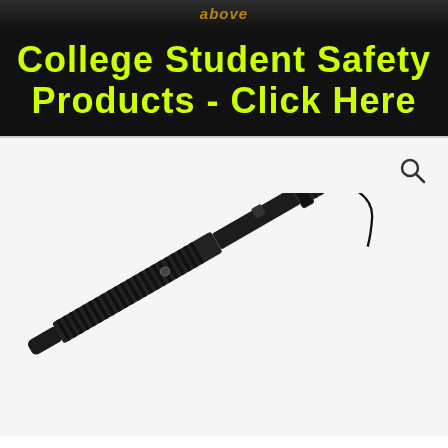above
College Student Safety Products - Click Here
[Figure (photo): A black expandable steel baton / police baton with textured grip handle and wrist strap, shown diagonally on white background with a search magnifier icon in top right corner.]